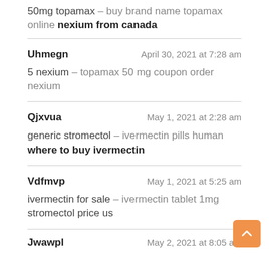50mg topamax – buy brand name topamax online nexium from canada
Uhmegn — April 30, 2021 at 7:28 am
5 nexium – topamax 50 mg coupon order nexium
Qjxvua — May 1, 2021 at 2:28 am
generic stromectol – ivermectin pills human where to buy ivermectin
Vdfmvp — May 1, 2021 at 5:25 am
ivermectin for sale – ivermectin tablet 1mg stromectol price us
Jwawpl — May 2, 2021 at 8:05 am